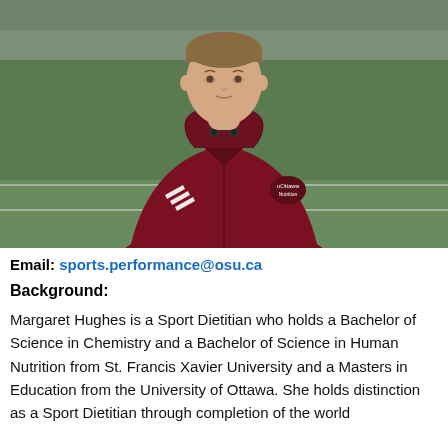[Figure (photo): Headshot of Margaret Hughes wearing a dark maroon/burgundy Adidas jacket with an Ottawa Nutrition logo, standing in front of a sports field/stadium.]
Email: sports.performance@osu.ca
Background:
Margaret Hughes is a Sport Dietitian who holds a Bachelor of Science in Chemistry and a Bachelor of Science in Human Nutrition from St. Francis Xavier University and a Masters in Education from the University of Ottawa. She holds distinction as a Sport Dietitian through completion of the world